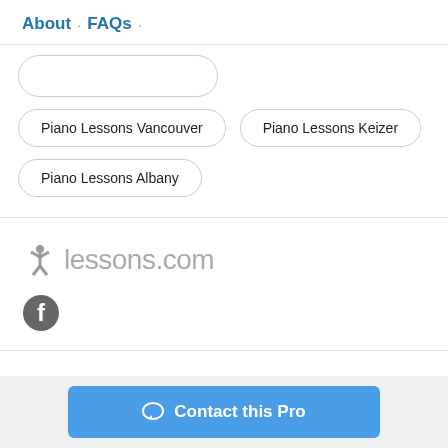About · FAQs ·
Piano Lessons Vancouver
Piano Lessons Keizer
Piano Lessons Albany
[Figure (logo): lessons.com logo with a star figure icon in gray and the text lessons.com in gray]
[Figure (other): Facebook social media icon - circular gray icon with white F]
Contact this Pro